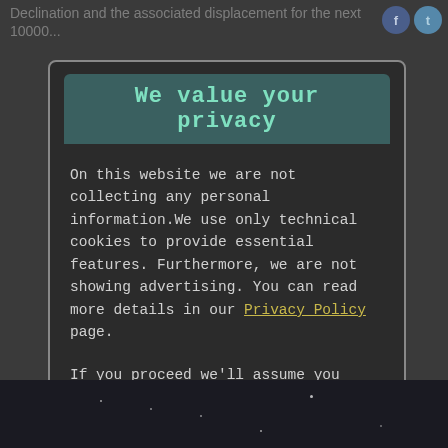Declination and the associated displacement for the next 10000...
We value your privacy
On this website we are not collecting any personal information.We use only technical cookies to provide essential features. Furthermore, we are not showing advertising. You can read more details in our Privacy Policy page.
If you proceed we'll assume you agree to receive our cookies. Thank you.
Proceed to TheSkyLive.com